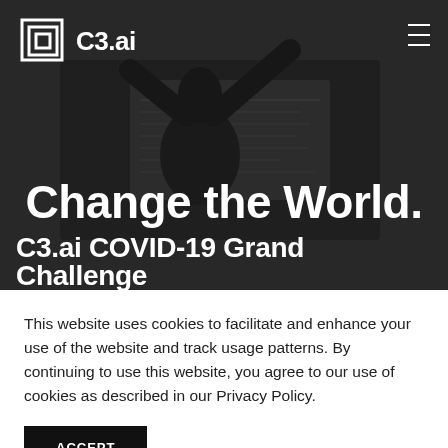[Figure (screenshot): C3.ai website hero section showing a person with raised arms in front of a monitor displaying charts, in black and white with dark overlay. C3.ai logo top left, hamburger menu icon top right.]
Change the World.
C3.ai COVID-19 Grand Challenge
This website uses cookies to facilitate and enhance your use of the website and track usage patterns. By continuing to use this website, you agree to our use of cookies as described in our Privacy Policy.
ACCEPT